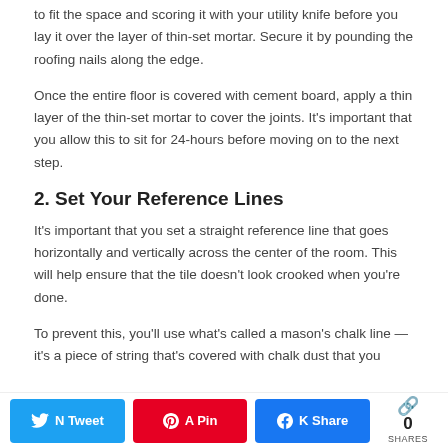to fit the space and scoring it with your utility knife before you lay it over the layer of thin-set mortar. Secure it by pounding the roofing nails along the edge.
Once the entire floor is covered with cement board, apply a thin layer of the thin-set mortar to cover the joints. It's important that you allow this to sit for 24-hours before moving on to the next step.
2. Set Your Reference Lines
It's important that you set a straight reference line that goes horizontally and vertically across the center of the room. This will help ensure that the tile doesn't look crooked when you're done.
To prevent this, you'll use what's called a mason's chalk line — it's a piece of string that's covered with chalk dust that you